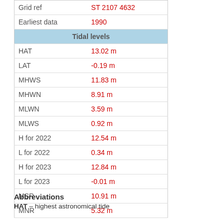|  |  |
| --- | --- |
| Grid ref | ST 2107 4632 |
| Earliest data | 1990 |
| Tidal levels |  |
| HAT | 13.02 m |
| LAT | -0.19 m |
| MHWS | 11.83 m |
| MHWN | 8.91 m |
| MLWN | 3.59 m |
| MLWS | 0.92 m |
| H for 2022 | 12.54 m |
| L for 2022 | 0.34 m |
| H for 2023 | 12.84 m |
| L for 2023 | -0.01 m |
| MSR | 10.91 m |
| MNR | 5.32 m |
Abbreviations
HAT – highest astronomical tide